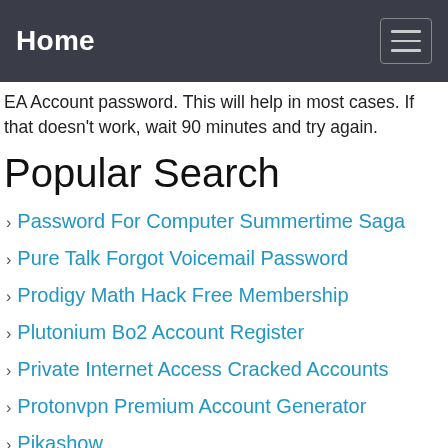Home
EA Account password. This will help in most cases. If that doesn't work, wait 90 minutes and try again.
Popular Search
Password For Computer Summertime Saga
Pure Talk Forgot Voicemail Password
Prodigy Math Hack Free Membership
Plutonium Bo2 Account Register
Private Internet Access Cracked Accounts
Protonvpn Premium Account Generator
Pikashow
Password Monster